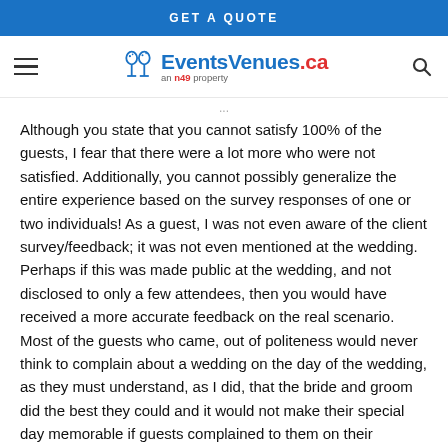GET A QUOTE
[Figure (logo): EventsVenues.ca logo with wine glasses icon and 'an n49 property' tagline, hamburger menu on left, search icon on right]
Although you state that you cannot satisfy 100% of the guests, I fear that there were a lot more who were not satisfied. Additionally, you cannot possibly generalize the entire experience based on the survey responses of one or two individuals! As a guest, I was not even aware of the client survey/feedback; it was not even mentioned at the wedding. Perhaps if this was made public at the wedding, and not disclosed to only a few attendees, then you would have received a more accurate feedback on the real scenario. Most of the guests who came, out of politeness would never think to complain about a wedding on the day of the wedding, as they must understand, as I did, that the bride and groom did the best they could and it would not make their special day memorable if guests complained to them on their wedding day about the service or lack of food. As you